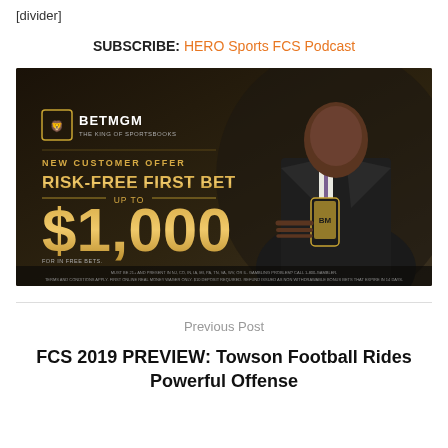[divider]
SUBSCRIBE: HERO Sports FCS Podcast
[Figure (photo): BetMGM advertisement showing a man in a suit holding a phone. Text reads: BETMGM THE KING OF SPORTSBOOKS. NEW CUSTOMER OFFER. RISK-FREE FIRST BET UP TO $1,000. FOR IN FREE BETS.]
Previous Post
FCS 2019 PREVIEW: Towson Football Rides Powerful Offense